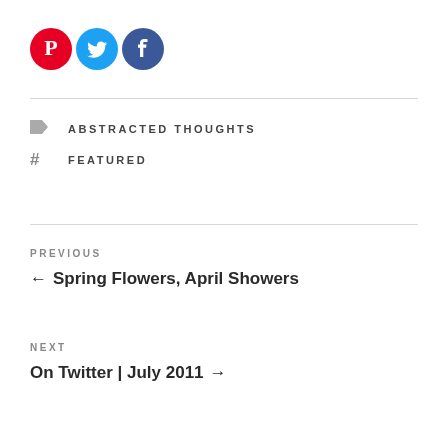[Figure (logo): Social media icons: Pinterest (red circle with P), Twitter (blue circle with bird), Facebook (dark blue circle with f)]
ABSTRACTED THOUGHTS
FEATURED
PREVIOUS
← Spring Flowers, April Showers
NEXT
On Twitter | July 2011 →